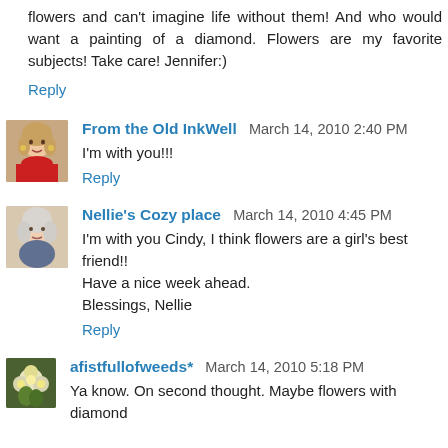flowers and can't imagine life without them! And who would want a painting of a diamond. Flowers are my favorite subjects! Take care! Jennifer:)
Reply
From the Old InkWell  March 14, 2010 2:40 PM
I'm with you!!!
Reply
Nellie's Cozy place  March 14, 2010 4:45 PM
I'm with you Cindy, I think flowers are a girl's best friend!! Have a nice week ahead. Blessings, Nellie
Reply
afistfullofweeds*  March 14, 2010 5:18 PM
Ya know. On second thought. Maybe flowers with diamond